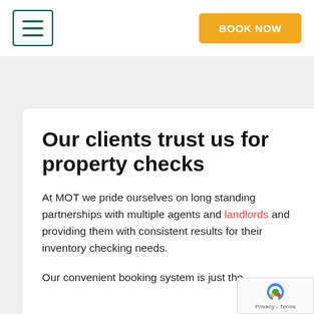[Figure (other): Hamburger menu icon button with dark green border and three horizontal lines]
[Figure (other): Yellow/amber BOOK NOW button]
Our clients trust us for property checks
At MOT we pride ourselves on long standing partnerships with multiple agents and landlords and providing them with consistent results for their inventory checking needs.
Our convenient booking system is just the
[Figure (other): Google reCAPTCHA badge with logo and Privacy - Terms text]